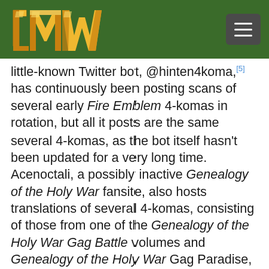LMW logo and navigation
little-known Twitter bot, @hinten4koma,[5] has continuously been posting scans of several early Fire Emblem 4-komas in rotation, but all it posts are the same several 4-komas, as the bot itself hasn't been updated for a very long time. Acenoctali, a possibly inactive Genealogy of the Holy War fansite, also hosts translations of several 4-komas, consisting of those from one of the Genealogy of the Holy War Gag Battle volumes and Genealogy of the Holy War Gag Paradise, though the actual page amount for both of them are unknown.[6] The rest are scattered across the internet, most notably on Twitter. A huge chunk of the available 4-komas are currently preserved in a MEGA folder, divided in three different folders.